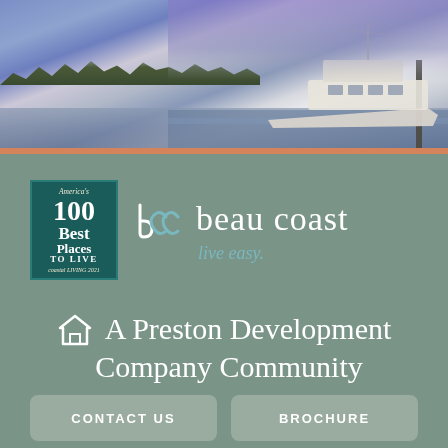[Figure (photo): Aerial/marina view at dusk with boats docked and purple sky, treeline in background]
[Figure (logo): America's 100 Best Places to Live award badge - Coastal Living 2021, alongside Beau Coast logo with tagline 'live easy.']
A Preston Development Company Community
CONTACT US
BROCHURE